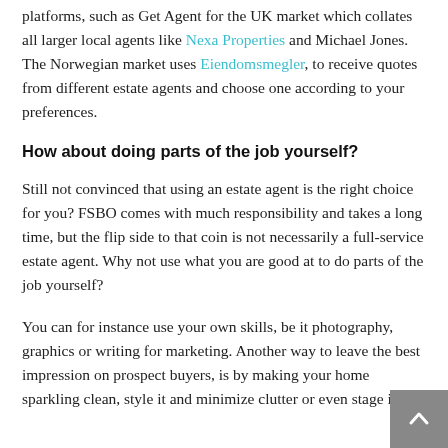platforms, such as Get Agent for the UK market which collates all larger local agents like Nexa Properties and Michael Jones. The Norwegian market uses Eiendomsmegler, to receive quotes from different estate agents and choose one according to your preferences.
How about doing parts of the job yourself?
Still not convinced that using an estate agent is the right choice for you? FSBO comes with much responsibility and takes a long time, but the flip side to that coin is not necessarily a full-service estate agent. Why not use what you are good at to do parts of the job yourself?
You can for instance use your own skills, be it photography, graphics or writing for marketing. Another way to leave the best impression on prospect buyers, is by making your home sparkling clean, style it and minimize clutter or even stage it